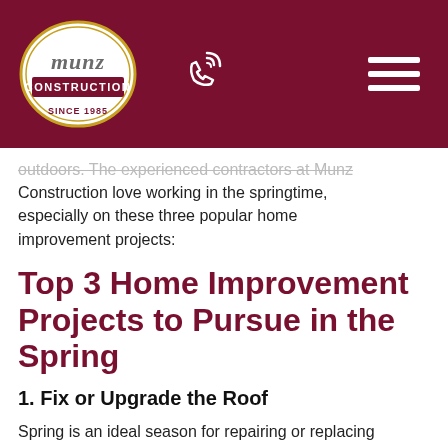[Figure (logo): Munz Construction Since 1985 logo in white oval on dark red background, with phone icon and hamburger menu]
outdoors. The experienced contractors at Munz Construction love working in the springtime, especially on these three popular home improvement projects:
Top 3 Home Improvement Projects to Pursue in the Spring
1. Fix or Upgrade the Roof
Spring is an ideal season for repairing or replacing